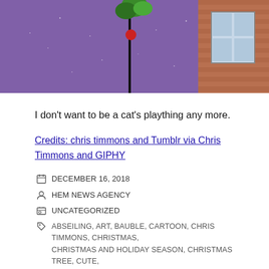[Figure (photo): Top portion of a digital illustration showing a purple/violet night sky with a Christmas scene — a cat or character on a streetlamp with a green plant and red bauble, with a brick building and window on the right side.]
I don't want to be a cat's plaything any more.
Credits: chris timmons and Tumblr via Chris Timmons and GIPHY
DECEMBER 16, 2018
HEM NEWS AGENCY
UNCATEGORIZED
ABSEILING, ART, BAUBLE, CARTOON, CHRIS TIMMONS, CHRISTMAS, CHRISTMAS AND HOLIDAY SEASON, CHRISTMAS TREE, CUTE, DECORATED, DECORATIONS, DESCENDING, DESCENT, ESCAPE, FLEE, FLEEING, FUNNY, HOLIDAYS, HOUSE, LIGHTS, NIGHT, RUN AWAY, STAR, TANNENBAUM, TREE, TUMBLE, WALL